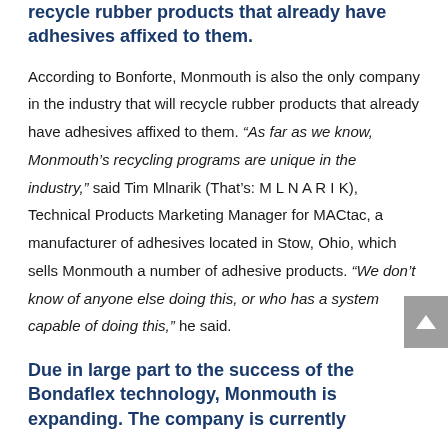recycle rubber products that already have adhesives affixed to them.
According to Bonforte, Monmouth is also the only company in the industry that will recycle rubber products that already have adhesives affixed to them. “As far as we know, Monmouth’s recycling programs are unique in the industry,” said Tim Mlnarik (That’s: M L N A R I K), Technical Products Marketing Manager for MACtac, a manufacturer of adhesives located in Stow, Ohio, which sells Monmouth a number of adhesive products. “We don’t know of anyone else doing this, or who has a system capable of doing this,” he said.
Due in large part to the success of the Bondaflex technology, Monmouth is expanding. The company is currently